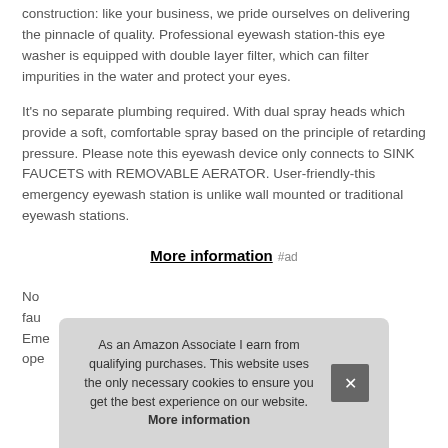construction: like your business, we pride ourselves on delivering the pinnacle of quality. Professional eyewash station-this eye washer is equipped with double layer filter, which can filter impurities in the water and protect your eyes.
It's no separate plumbing required. With dual spray heads which provide a soft, comfortable spray based on the principle of retarding pressure. Please note this eyewash device only connects to SINK FAUCETS with REMOVABLE AERATOR. User-friendly-this emergency eyewash station is unlike wall mounted or traditional eyewash stations.
More information #ad
No ... fau... Eme... ope...
As an Amazon Associate I earn from qualifying purchases. This website uses the only necessary cookies to ensure you get the best experience on our website. More information